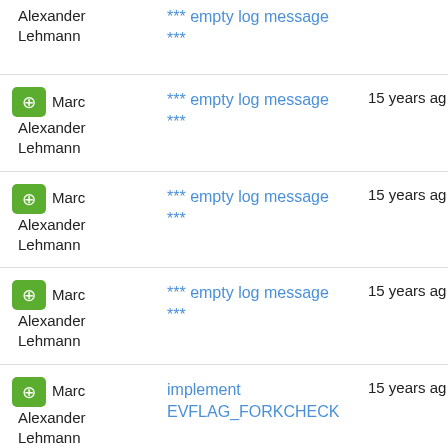Alexander Lehmann — *** empty log message ***
Marc Alexander Lehmann — *** empty log message *** — 15 years ago
Marc Alexander Lehmann — *** empty log message *** — 15 years ago
Marc Alexander Lehmann — *** empty log message *** — 15 years ago
Marc Alexander Lehmann — implement EVFLAG_FORKCHECK — 15 years ago
Marc — 15 years ago